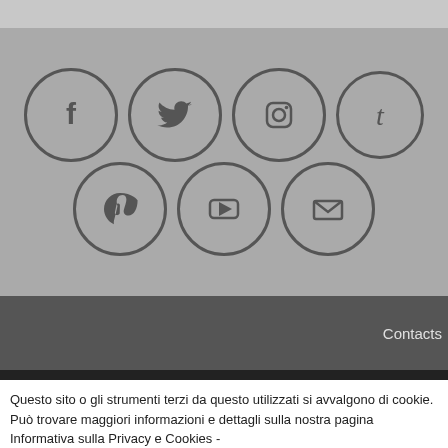[Figure (infographic): Seven social media icons in circles arranged in two rows: Facebook, Twitter, Instagram, Tumblr (top), Pinterest, YouTube, Email (bottom) on a gray background]
Contacts
Questo sito o gli strumenti terzi da questo utilizzati si avvalgono di cookie. Può trovare maggiori informazioni e dettagli sulla nostra pagina Informativa sulla Privacy e Cookies -
Informativa ai sensi del Regolamento UE 2016/679 GDPR
Accetto
Leggi tutto